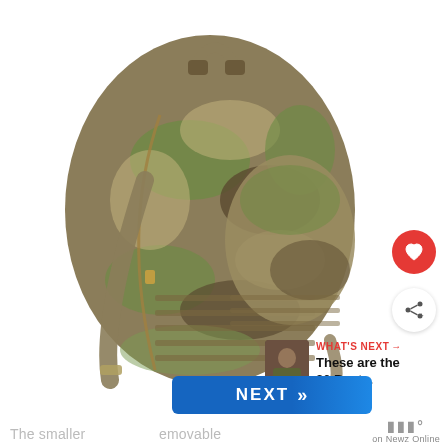[Figure (photo): A camouflage multicam tactical backpack with MOLLE webbing, side zipper, top carry handle, and shoulder straps, shown on white background.]
WHAT'S NEXT → These are the 20 Best...
NEXT »
The smaller ... removable
on Newz Online